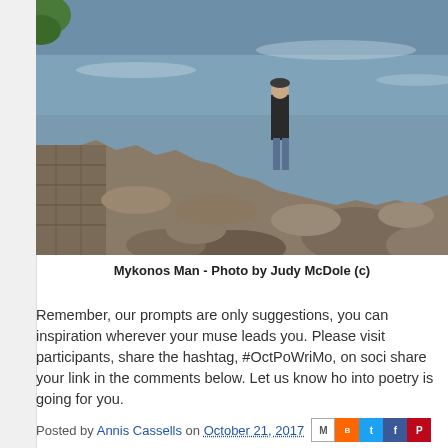[Figure (photo): A man standing on a rocky coastal path beside a stone wall, with rocky shore and sea in the background. Mykonos, Greece.]
Mykonos Man - Photo by Judy McDole (c)
Remember, our prompts are only suggestions, you can inspiration wherever your muse leads you. Please visit participants, share the hashtag, #OctPoWriMo, on soci share your link in the comments below. Let us know ho into poetry is going for you.
Posted by Annis Cassells on October 21, 2017